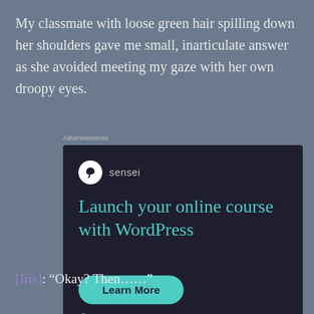My classmate with loose green hair spilling down her shoulders gave me small, inarticulate answer as she avoided meeting my gaze with her own droopy eyes.
Advertisements
[Figure (other): Advertisement banner for Sensei plugin with dark background. Shows the Sensei logo (tree icon in white circle) with brand name 'sensei', headline 'Launch your online course with WordPress' in teal, a teal rounded 'Learn More' button, and footer 'Powered by WordPress.com'. Small 'REPORT THIS AD' link at bottom right.]
[Iris]: “Okay? Then……”